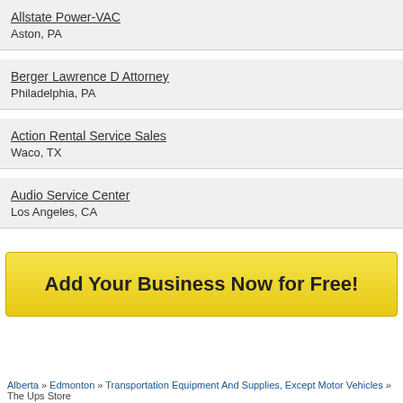Allstate Power-VAC
Aston, PA
Berger Lawrence D Attorney
Philadelphia, PA
Action Rental Service Sales
Waco, TX
Audio Service Center
Los Angeles, CA
[Figure (other): Yellow gradient button: Add Your Business Now for Free!]
Alberta » Edmonton » Transportation Equipment And Supplies, Except Motor Vehicles » The Ups Store